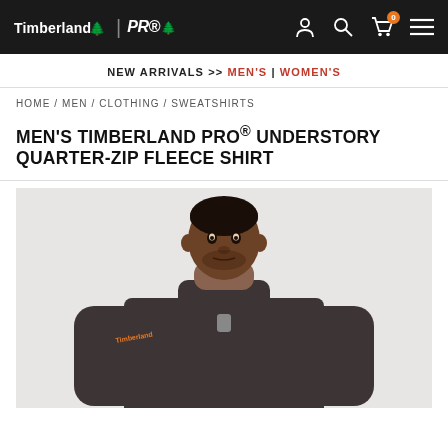Timberland PRO - Navigation bar with logo, search, cart (0), and menu icons
NEW ARRIVALS >> MEN'S | WOMEN'S
HOME / MEN / CLOTHING / SWEATSHIRTS
MEN'S TIMBERLAND PRO® UNDERSTORY QUARTER-ZIP FLEECE SHIRT
[Figure (photo): A man wearing a dark gray Timberland PRO quarter-zip fleece shirt, shown from the waist up against a light gray background.]